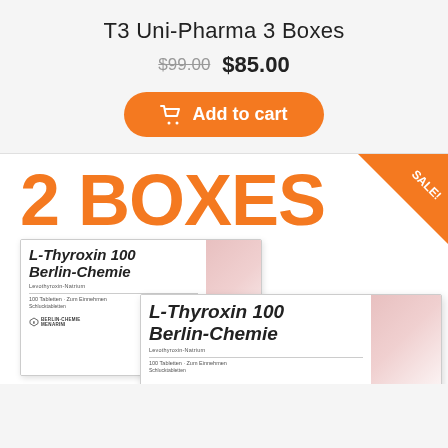T3 Uni-Pharma 3 Boxes
$99.00  $85.00
[Figure (screenshot): Add to cart button with shopping cart icon, orange rounded rectangle button]
[Figure (photo): Product promotional image showing '2 BOXES' in large orange text with a SALE! badge in upper right corner, and two boxes of L-Thyroxin 100 Berlin-Chemie medication below]